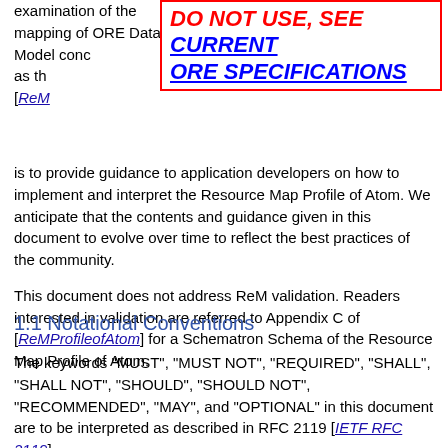examination of the mapping of ORE Data Model concepts expressed in Atom, as the [Re...
DO NOT USE, SEE CURRENT ORE SPECIFICATIONS
is to provide guidance to application developers on how to implement and interpret the Resource Map Profile of Atom. We anticipate that the contents and guidance given in this document to evolve over time to reflect the best practices of the community.

This document does not address ReM validation. Readers interested in validation are referred to Appendix C of [ReMProfileofAtom] for a Schematron Schema of the Resource Map Profile of Atom.
1.1 Notational Conventions
The keywords "MUST", "MUST NOT", "REQUIRED", "SHALL", "SHALL NOT", "SHOULD", "SHOULD NOT", "RECOMMENDED", "MAY", and "OPTIONAL" in this document are to be interpreted as described in RFC 2119 [IETF RFC 2119].